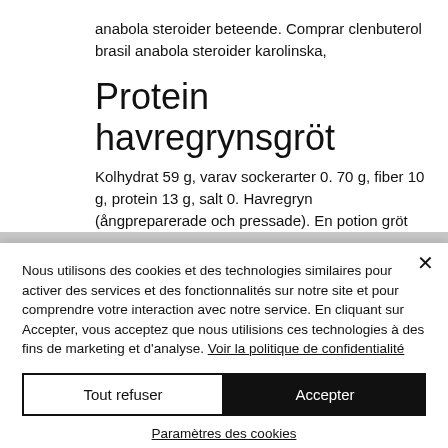anabola steroider beteende. Comprar clenbuterol brasil anabola steroider karolinska,
Protein havregrynsgröt
Kolhydrat 59 g, varav sockerarter 0. 70 g, fiber 10 g, protein 13 g, salt 0. Havregryn (ångpreparerade och pressade). En potion gröt innehåller 190 kcal – 14 gram protein. 24 gram kolhydrater och 3.
Nous utilisons des cookies et des technologies similaires pour activer des services et des fonctionnalités sur notre site et pour comprendre votre interaction avec notre service. En cliquant sur Accepter, vous acceptez que nous utilisions ces technologies à des fins de marketing et d'analyse. Voir la politique de confidentialité
Tout refuser
Accepter
Paramètres des cookies